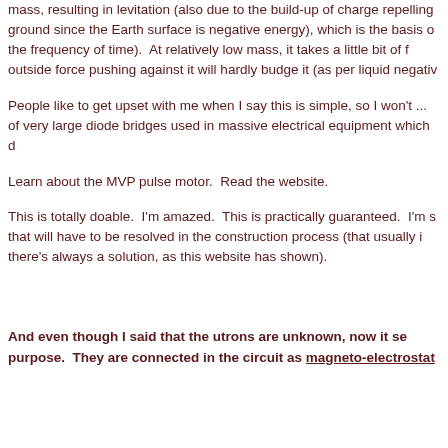mass, resulting in levitation (also due to the build-up of charge repelling ground since the Earth surface is negative energy), which is the basis of the frequency of time).  At relatively low mass, it takes a little bit of fo outside force pushing against it will hardly budge it (as per liquid negativ
People like to get upset with me when I say this is simple, so I won't ... of very large diode bridges used in massive electrical equipment which d
Learn about the MVP pulse motor.  Read the website.
This is totally doable.  I'm amazed.  This is practically guaranteed.  I'm s that will have to be resolved in the construction process (that usually i there's always a solution, as this website has shown).
And even though I said that the utrons are unknown, now it se purpose.  They are connected in the circuit as magneto-electrostat